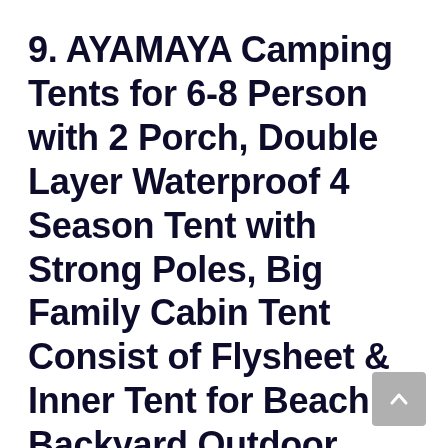9. AYAMAYA Camping Tents for 6-8 Person with 2 Porch, Double Layer Waterproof 4 Season Tent with Strong Poles, Big Family Cabin Tent Consist of Flysheet & Inner Tent for Beach Backyard Outdoor Emergency